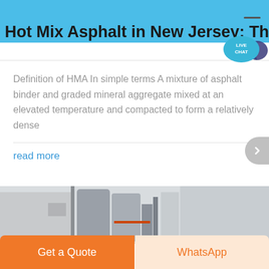Hot Mix Asphalt in New Jersey: The
[Figure (illustration): Live Chat speech bubble icon with teal/blue color and white text]
Definition of HMA In simple terms A mixture of asphalt binder and graded mineral aggregate mixed at an elevated temperature and compacted to form a relatively dense
read more
[Figure (photo): Industrial asphalt plant or mixing equipment, silos and machinery visible]
Get a Quote
WhatsApp